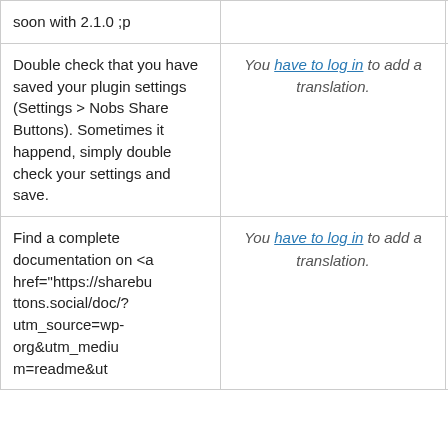| Original string | Translation | Actions |
| --- | --- | --- |
| soon with 2.1.0 ;p |  |  |
| Double check that you have saved your plugin settings (Settings &gt; Nobs Share Buttons). Sometimes it happend, simply double check your settings and save. | You have to log in to add a translation. | Details |
| Find a complete documentation on <a href="https://sharebuttons.social/doc/?utm_source=wp-org&amp;utm_medium=readme&amp;ut | You have to log in to add a translation. | Details |